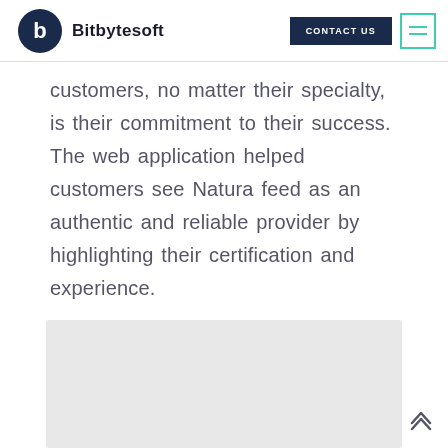Bitbytesoft | CONTACT US
customers, no matter their specialty, is their commitment to their success. The web application helped customers see Natura feed as an authentic and reliable provider by highlighting their certification and experience.
[Figure (photo): Gray placeholder image box at the bottom of the page]